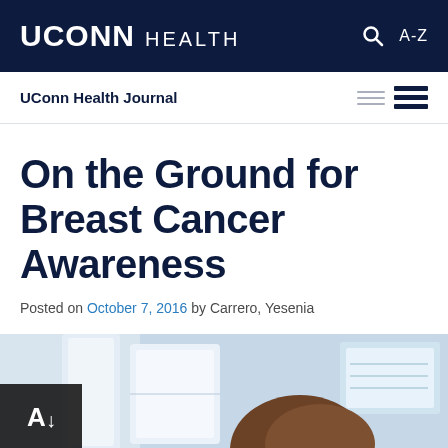UCONN HEALTH
UConn Health Journal
On the Ground for Breast Cancer Awareness
Posted on October 7, 2016 by Carrero, Yesenia
[Figure (photo): A person using a medical imaging machine, viewed from behind, with a computer screen visible on the right side.]